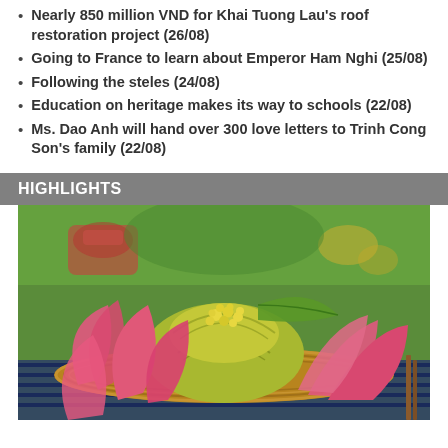Nearly 850 million VND for Khai Tuong Lau's roof restoration project (26/08)
Going to France to learn about Emperor Ham Nghi (25/08)
Following the steles (24/08)
Education on heritage makes its way to schools (22/08)
Ms. Dao Anh will hand over 300 love letters to Trinh Cong Son's family (22/08)
HIGHLIGHTS
[Figure (photo): A decorative food arrangement featuring lotus-leaf wrapped items garnished with yellow berries, surrounded by pink lotus flower petals, displayed in a woven basket on a patterned cloth.]